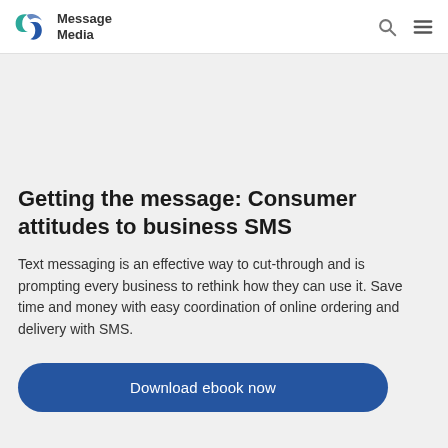Message Media
Getting the message: Consumer attitudes to business SMS
Text messaging is an effective way to cut-through and is prompting every business to rethink how they can use it. Save time and money with easy coordination of online ordering and delivery with SMS.
Download ebook now